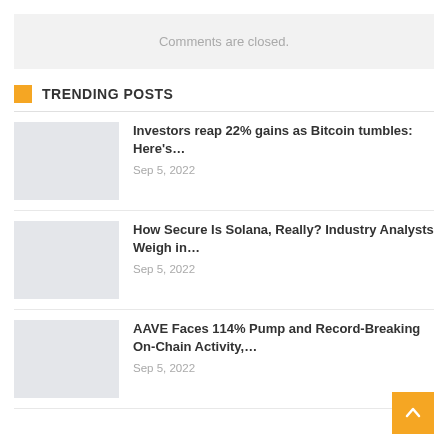Comments are closed.
TRENDING POSTS
Investors reap 22% gains as Bitcoin tumbles: Here's…
Sep 5, 2022
How Secure Is Solana, Really? Industry Analysts Weigh in…
Sep 5, 2022
AAVE Faces 114% Pump and Record-Breaking On-Chain Activity,…
Sep 5, 2022